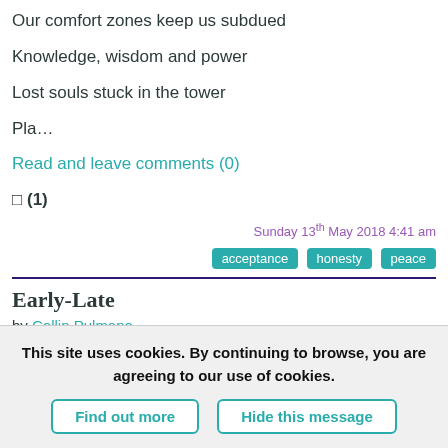Our comfort zones keep us subdued
Knowledge, wisdom and power
Lost souls stuck in the tower
Pla…
Read and leave comments (0)
[] (1)
Sunday 13th May 2018 4:41 am
acceptance   honesty   peace
Early-Late
by Collin Pulmano
The clover is blooming
This site uses cookies. By continuing to browse, you are agreeing to our use of cookies.